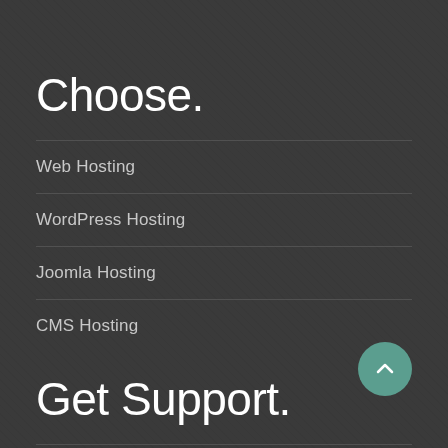Choose.
Web Hosting
WordPress Hosting
Joomla Hosting
CMS Hosting
Get Support.
Contact Us
KnowledgeBase
Submit a Ticket
Live Chat